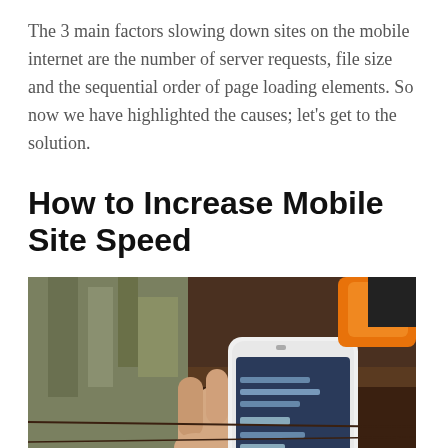The 3 main factors slowing down sites on the mobile internet are the number of server requests, file size and the sequential order of page loading elements. So now we have highlighted the causes; let's get to the solution.
How to Increase Mobile Site Speed
[Figure (photo): A hand holding a white smartphone displaying a screen with text, resting on a wooden surface. An orange object is visible in the background.]